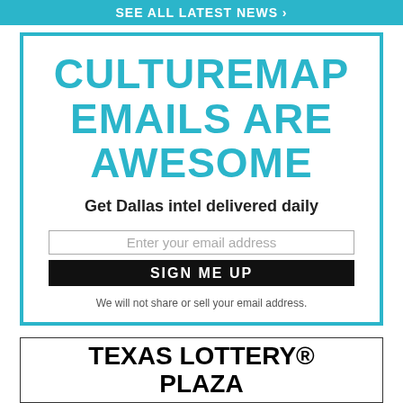SEE ALL LATEST NEWS >
CULTUREMAP EMAILS ARE AWESOME
Get Dallas intel delivered daily
Enter your email address
SIGN ME UP
We will not share or sell your email address.
TEXAS LOTTERY® PLAZA